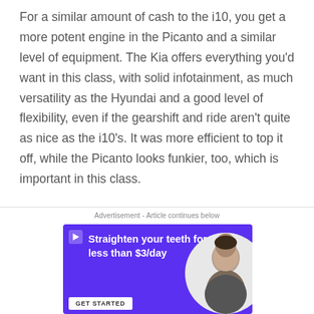For a similar amount of cash to the i10, you get a more potent engine in the Picanto and a similar level of equipment. The Kia offers everything you'd want in this class, with solid infotainment, as much versatility as the Hyundai and a good level of flexibility, even if the gearshift and ride aren't quite as nice as the i10's. It was more efficient to top it off, while the Picanto looks funkier, too, which is important in this class.
Advertisement - Article continues below
[Figure (other): Advertisement banner for teeth straightening service. Purple background with white bold text reading 'Straighten your teeth for less than $3/day', a play icon in top-left corner, a photo of a smiling man on the right side, and a GET STARTED button at the bottom.]